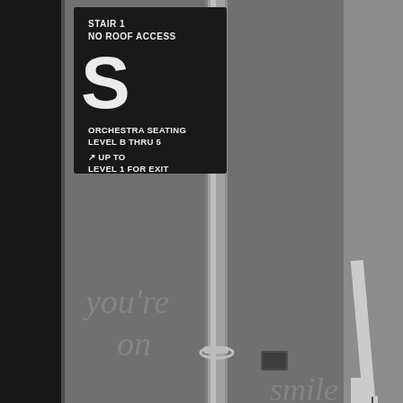[Figure (photo): Black and white photograph of a stairwell interior. A dark sign on a metal wall reads 'STAIR 1 / NO ROOF ACCESS' at top, with a large letter 'S', then 'ORCHESTRA SEATING / LEVEL B THRU 5' and an arrow symbol '↗ UP TO / LEVEL 1 FOR EXIT'. A vertical pipe runs through the center. On the left wall in light gray text: 'you're on'. At the bottom right, the word 'smile' is partially visible. Various pipes and a valve are visible on the right side.]